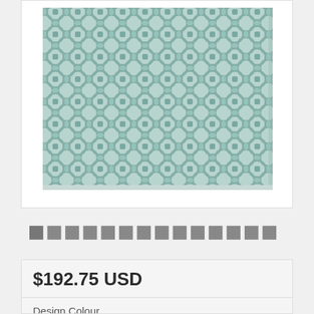[Figure (photo): A teal/mint and white geometric patterned rug with an interlocking circles design, viewed from above at an angle. The rug has a decorative lattice pattern throughout.]
[Figure (other): A horizontal strip of 14 small dark gray square thumbnail navigation indicators below the product image.]
$192.75 USD
Design Colour
[Figure (other): Three color swatch thumbnails showing different rug color variants: navy blue, beige/tan, and a third partially visible. A USD currency selector button is also visible.]